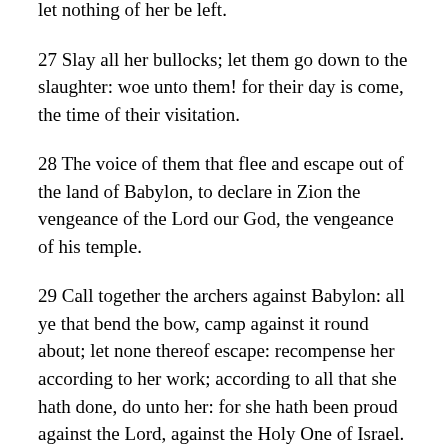let nothing of her be left.
27 Slay all her bullocks; let them go down to the slaughter: woe unto them! for their day is come, the time of their visitation.
28 The voice of them that flee and escape out of the land of Babylon, to declare in Zion the vengeance of the Lord our God, the vengeance of his temple.
29 Call together the archers against Babylon: all ye that bend the bow, camp against it round about; let none thereof escape: recompense her according to her work; according to all that she hath done, do unto her: for she hath been proud against the Lord, against the Holy One of Israel.
30 Therefore shall her young men fall in the streets, and all her men of war shall be cut off in that day, saith the Lord.